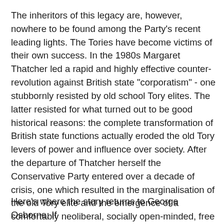The inheritors of this legacy are, however, nowhere to be found among the Party's recent leading lights. The Tories have become victims of their own success. In the 1980s Margaret Thatcher led a rapid and highly effective counter-revolution against British state "corporatism" - one stubbornly resisted by old school Tory elites. The latter resisted for what turned out to be good historical reasons: the complete transformation of British state functions actually eroded the old Tory levers of power and influence over society. After the departure of Thatcher herself the Conservative Party entered over a decade of crisis, one which resulted in the marginalisation of the old Tory elite and the emergence of a comfortably neoliberal, socially open-minded, free market, small-state, low tax grouping as the new rulers of the party. But the Cameroons, as they were dubbed, operated a weightless hegemony over a party whose internal traditions had been worn threadbare by the neoliberal onslaught on the British state. For a party so thoroughly imbricated in the traditional functioning of the British state, the upheaval of neoliberalism was bound to be problematic.
Here's where the story returns to George Osborne. If